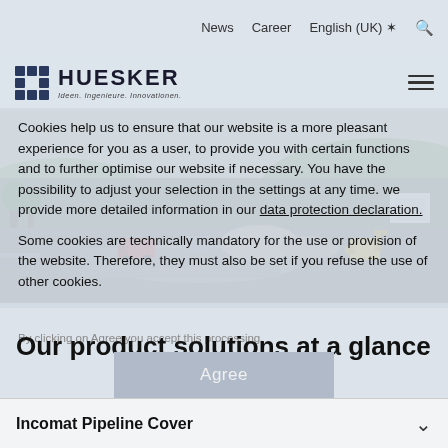News   Career   English (UK)   🔍
[Figure (logo): HUESKER logo with grid icon and tagline 'Ideen. Ingenieure. Innovationen.']
[Figure (photo): Aerial/landscape photo of a construction site with trucks, excavators, gravel piles, and green fields in background]
Cookies help us to ensure that our website is a more pleasant experience for you as a user, to provide you with certain functions and to further optimise our website if necessary. You have the possibility to adjust your selection in the settings at any time. we provide more detailed information in our data protection declaration.
Some cookies are technically mandatory for the use or provision of the website. Therefore, they must also be set if you refuse the use of other cookies.
By clicking on Agree you accept this processing.
Our product solutions at a glance
Agree
Incomat Pipeline Cover